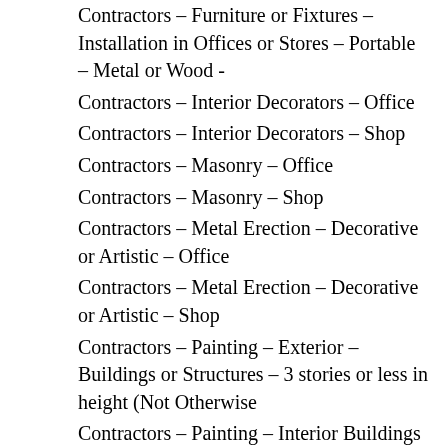Contractors – Furniture or Fixtures – Installation in Offices or Stores – Portable – Metal or Wood -
Contractors – Interior Decorators – Office
Contractors – Interior Decorators – Shop
Contractors – Masonry – Office
Contractors – Masonry – Shop
Contractors – Metal Erection – Decorative or Artistic – Office
Contractors – Metal Erection – Decorative or Artistic – Shop
Contractors – Painting – Exterior – Buildings or Structures – 3 stories or less in height (Not Otherwise
Contractors – Painting – Interior Buildings or Structures – Office
Contractors – Painting – Interior Buildi…